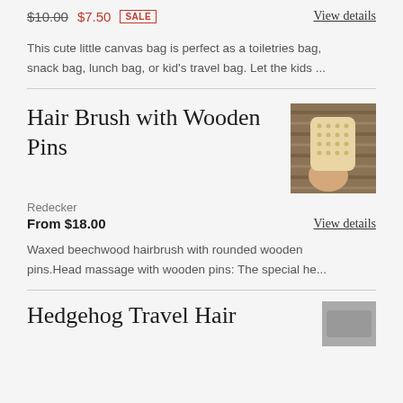$10.00  $7.50  SALE
View details
This cute little canvas bag is perfect as a toiletries bag, snack bag, lunch bag, or kid's travel bag. Let the kids ...
Hair Brush with Wooden Pins
[Figure (photo): A hand holding a wooden hairbrush with rounded wooden pins, photographed against a wooden deck background.]
Redecker
From $18.00
View details
Waxed beechwood hairbrush with rounded wooden pins.Head massage with wooden pins: The special he...
Hedgehog Travel Hair